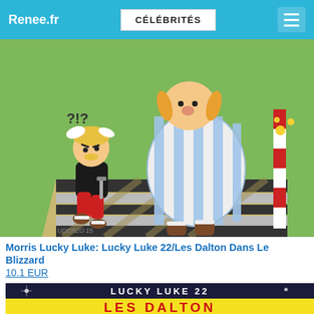Renee.fr | CÉLÉBRITÉS
[Figure (illustration): Cartoon illustration: Asterix (small Gaulish warrior in black tunic, red trousers, winged helmet) running alongside Obelix (large man in blue-white striped tunic). They run on a road with black-and-white stripes (zebra crossing), with a red-and-white striped post on the right. Green grass background.]
Morris Lucky Luke: Lucky Luke 22/Les Dalton Dans Le Blizzard
10.1 EUR
[Figure (illustration): Cover of Lucky Luke 22 comic book: dark background with sparkle effects, text 'LUCKY LUKE 22' at top, yellow background with 'LES DALTON' in large red letters.]